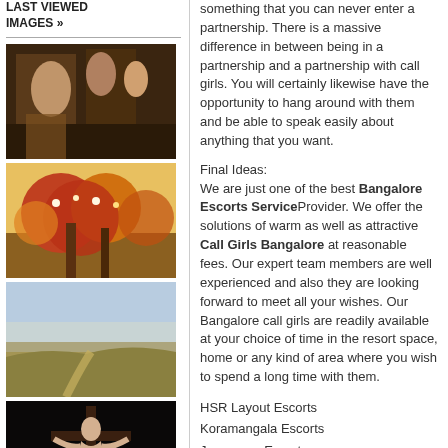LAST VIEWED IMAGES »
[Figure (photo): Classical painting of group of people in dark interior]
[Figure (photo): Colorful painting of trees with blossoms]
[Figure (photo): Landscape painting of field and path]
[Figure (photo): Dark painting of crucifixion]
something that you can never enter a partnership. There is a massive difference in between being in a partnership and a partnership with call girls. You will certainly likewise have the opportunity to hang around with them and be able to speak easily about anything that you want.
Final Ideas:
We are just one of the best Bangalore Escorts ServiceProvider. We offer the solutions of warm as well as attractive Call Girls Bangalore at reasonable fees. Our expert team members are well experienced and also they are looking forward to meet all your wishes. Our Bangalore call girls are readily available at your choice of time in the resort space, home or any kind of area where you wish to spend a long time with them.
HSR Layout Escorts
Koramangala Escorts
Jayanagar Escorts
KR Puram Escorts
Indiranagar Escorts
Majestic Escorts
Whitefield Escorts
Marathahalli Escorts
Banaswadi Escorts
MG Road Escorts
Bellandur Escorts
Electronic City Escorts
Hebbal Escorts
Call Girls in Bangalore
Cheap Escorts Service